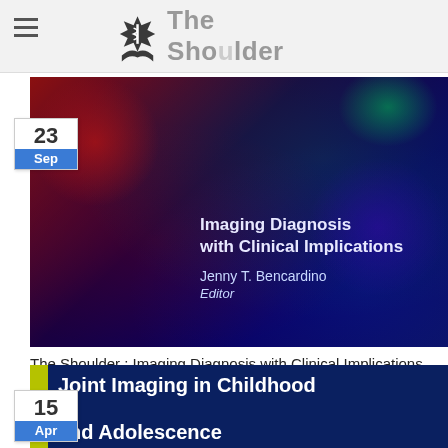The Shoulder
[Figure (photo): Book cover of 'The Shoulder: Imaging Diagnosis with Clinical Implications' edited by Jenny T. Bencardino, dark blue/red background with book title and author text]
The Shoulder : Imaging Diagnosis with Clinical Implications
Jenny T. Bencardino This book covers all aspects of imaging diagnosis of shoulder disorders from[...]
[Figure (photo): Book cover of 'Joint Imaging in Childhood and Adolescence', dark blue background with yellow-green stripe on left]